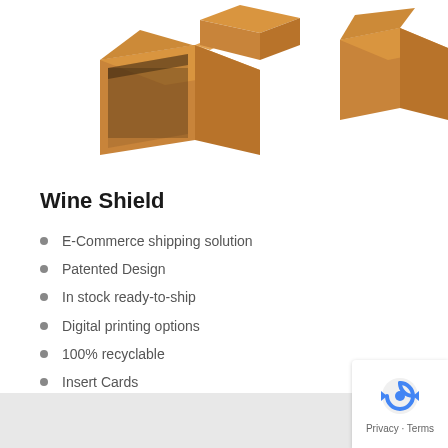[Figure (photo): Photo of cardboard wine shipping boxes arranged, viewed from above/side, on a white background]
Wine Shield
E-Commerce shipping solution
Patented Design
In stock ready-to-ship
Digital printing options
100% recyclable
Insert Cards
Order online
Explore product category  >